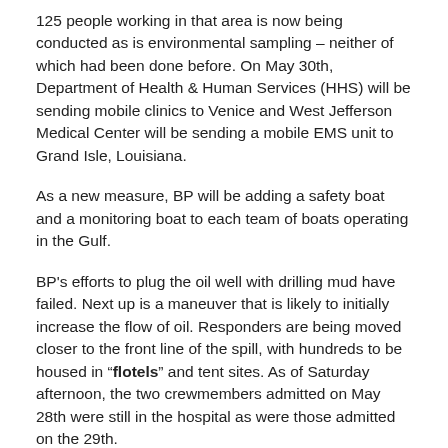125 people working in that area is now being conducted as is environmental sampling – neither of which had been done before. On May 30th, Department of Health & Human Services (HHS) will be sending mobile clinics to Venice and West Jefferson Medical Center will be sending a mobile EMS unit to Grand Isle, Louisiana.
As a new measure, BP will be adding a safety boat and a monitoring boat to each team of boats operating in the Gulf.
BP's efforts to plug the oil well with drilling mud have failed. Next up is a maneuver that is likely to initially increase the flow of oil. Responders are being moved closer to the front line of the spill, with hundreds to be housed in "flotels" and tent sites. As of Saturday afternoon, the two crewmembers admitted on May 28th were still in the hospital as were those admitted on the 29th.